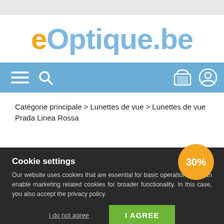[Figure (logo): eOptique.be logo with orange 'e' and blue 'Optique.be' text]
[Figure (screenshot): Navigation bar with hamburger menu, search icon, basket icon, and user icon on blue background]
Catégorie principale > Lunettes de vue > Lunettes de vue Prada Linea Rossa
[Figure (photo): Dark-framed eyeglasses product photo with orange 30% discount badge]
Cookie settings
Our website uses cookies that are essential for basic operation. You can enable marketing related cookies for broader functionality. In this case, you also accept the privacy policy.